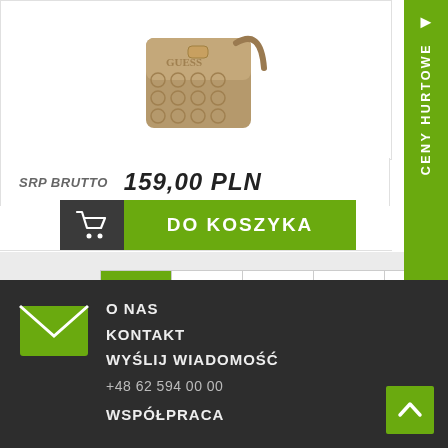[Figure (photo): Product photo of a Guess branded brown crossbody/shoulder bag with logo pattern and strap]
SRP BRUTTO   159,00 PLN
DO KOSZYKA
1
2
3
4
5
6
7
»
CENY HURTOWE
O NAS
KONTAKT
WYŚLIJ WIADOMOŚĆ
+48 62 594 00 00
WSPÓŁPRACA